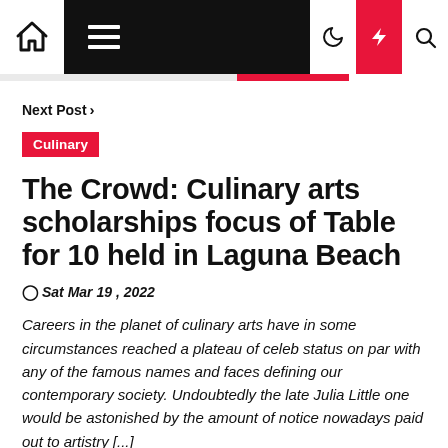Next Post >
Culinary
The Crowd: Culinary arts scholarships focus of Table for 10 held in Laguna Beach
Sat Mar 19 , 2022
Careers in the planet of culinary arts have in some circumstances reached a plateau of celeb status on par with any of the famous names and faces defining our contemporary society. Undoubtedly the late Julia Little one would be astonished by the amount of notice nowadays paid out to artistry [...]